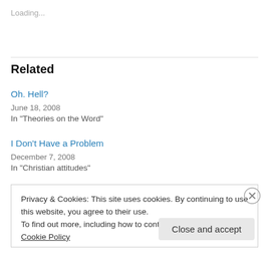Loading...
Related
Oh. Hell?
June 18, 2008
In "Theories on the Word"
I Don't Have a Problem
December 7, 2008
In "Christian attitudes"
Privacy & Cookies: This site uses cookies. By continuing to use this website, you agree to their use.
To find out more, including how to control cookies, see here: Cookie Policy
Close and accept